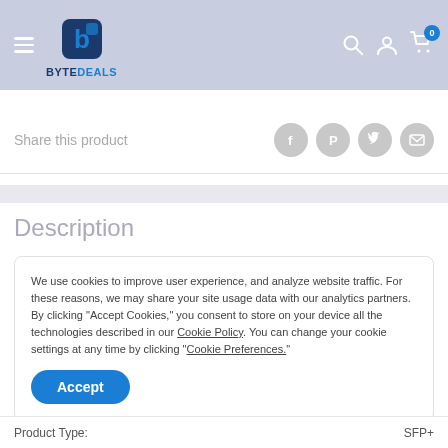BYTEDEALS
Share this product
Description
We use cookies to improve user experience, and analyze website traffic. For these reasons, we may share your site usage data with our analytics partners. By clicking “Accept Cookies,” you consent to store on your device all the technologies described in our Cookie Policy. You can change your cookie settings at any time by clicking “Cookie Preferences.”
Product Type: SFP+